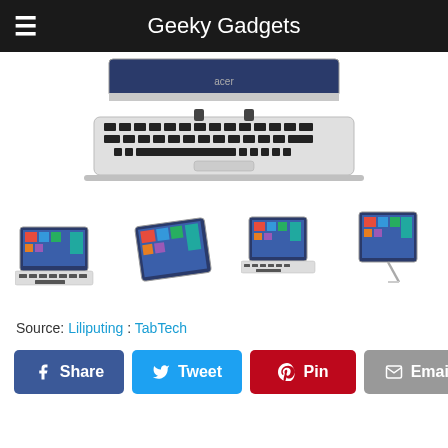Geeky Gadgets
[Figure (photo): Acer tablet with detachable keyboard dock shown from above — keyboard base visible with two connector prongs and silver/black finish]
[Figure (photo): Four views of an Acer 2-in-1 convertible tablet/laptop (Switch) showing: laptop mode, tablet flat, angled tent mode, and kickstand/display mode — all showing Windows 8 start screen]
Source: Liliputing : TabTech
Share  Tweet  Pin  Email